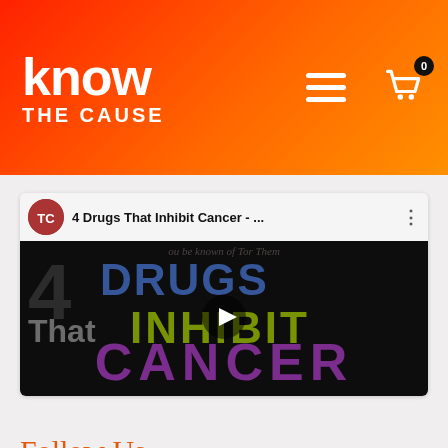know THE CAUSE
[Figure (screenshot): YouTube video thumbnail showing '4 Drugs That Inhibit Cancer - ...' with channel avatar, menu dots, and play button overlay. Video content shows stylized text '4 DRUGS That INHIBIT CANCER' on dark background.]
Follow Us